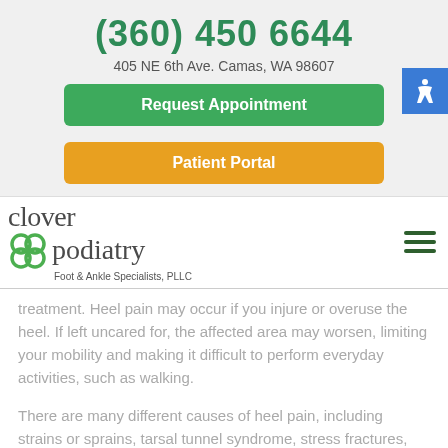(360) 450 6644
405 NE 6th Ave. Camas, WA 98607
Request Appointment
Patient Portal
[Figure (logo): Clover Podiatry Foot & Ankle Specialists, PLLC logo with green clover icon]
treatment. Heel pain may occur if you injure or overuse the heel. If left uncared for, the affected area may worsen, limiting your mobility and making it difficult to perform everyday activities, such as walking.
There are many different causes of heel pain, including strains or sprains, tarsal tunnel syndrome, stress fractures, Achilles tendonitis, and heel bursitis. One of the most common causes of heel pain for children and teenagers specifically is Sever's disease. Sever's disease can develop due to overuse or repetitive microtrauma in the heel bone's growth plates. This condition is often...